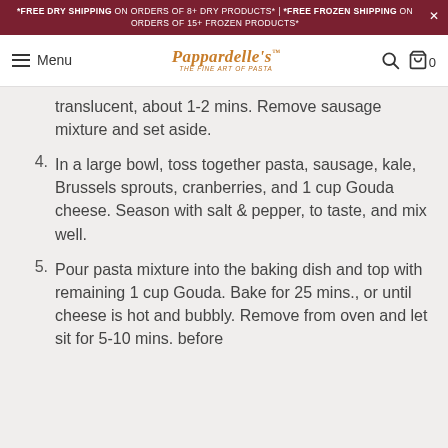*FREE DRY SHIPPING ON ORDERS OF 8+ DRY PRODUCTS* | *FREE FROZEN SHIPPING ON ORDERS OF 15+ FROZEN PRODUCTS*
Menu | Pappardelle's THE FINE ART OF PASTA | 0
translucent, about 1-2 mins. Remove sausage mixture and set aside.
4. In a large bowl, toss together pasta, sausage, kale, Brussels sprouts, cranberries, and 1 cup Gouda cheese. Season with salt & pepper, to taste, and mix well.
5. Pour pasta mixture into the baking dish and top with remaining 1 cup Gouda. Bake for 25 mins., or until cheese is hot and bubbly. Remove from oven and let sit for 5-10 mins. before